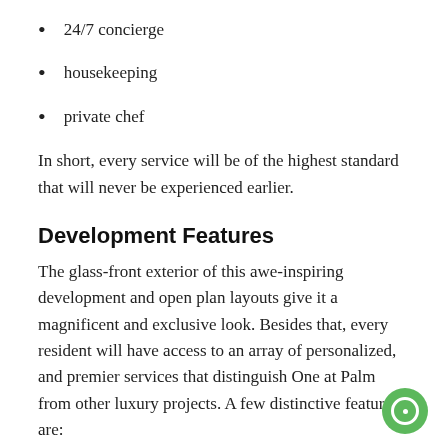24/7 concierge
housekeeping
private chef
In short, every service will be of the highest standard that will never be experienced earlier.
Development Features
The glass-front exterior of this awe-inspiring development and open plan layouts give it a magnificent and exclusive look. Besides that, every resident will have access to an array of personalized, and premier services that distinguish One at Palm from other luxury projects. A few distinctive features are: